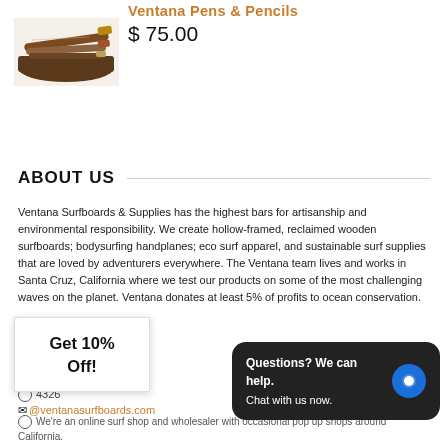Ventana Pens & Pencils
[Figure (photo): Product photo of Ventana Pens and Pencils - wooden pens/pencils resting on a dark wood surface]
$ 75.00
ABOUT US
Ventana Surfboards & Supplies has the highest bars for artisanship and environmental responsibility. We create hollow-framed, reclaimed wooden surfboards; bodysurfing handplanes; eco surf apparel, and sustainable surf supplies that are loved by adventurers everywhere. The Ventana team lives and works in Santa Cruz, California where we test our products on some of the most challenging waves on the planet. Ventana donates at least 5% of profits to ocean conservation.
4326
@ventanasurfboards.com
Get 10% Off!
Questions? We can help. Chat with us now.
We're an online surf shop and wholesaler with occasional pop up shops around California.